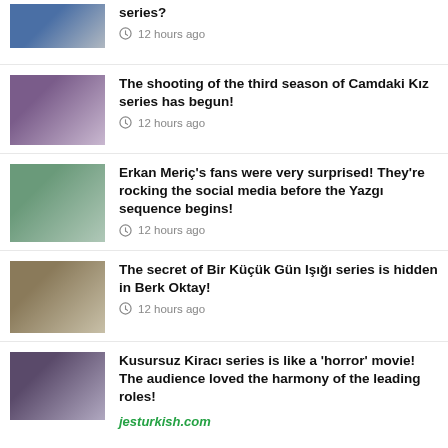series? — 12 hours ago
The shooting of the third season of Camdaki Kız series has begun! — 12 hours ago
Erkan Meriç's fans were very surprised! They're rocking the social media before the Yazgı sequence begins! — 12 hours ago
The secret of Bir Küçük Gün Işığı series is hidden in Berk Oktay! — 12 hours ago
Kusursuz Kiracı series is like a 'horror' movie! The audience loved the harmony of the leading roles!
jesturkish.com